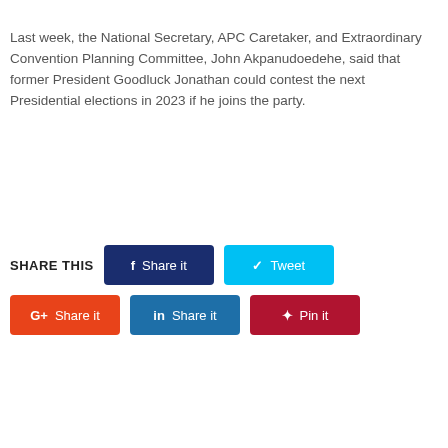Last week, the National Secretary, APC Caretaker, and Extraordinary Convention Planning Committee, John Akpanudoedehe, said that former President Goodluck Jonathan could contest the next Presidential elections in 2023 if he joins the party.
SHARE THIS  [Share it (Facebook)]  [Tweet (Twitter)]  [Share it (Google+)]  [Share it (LinkedIn)]  [Pin it (Pinterest)]